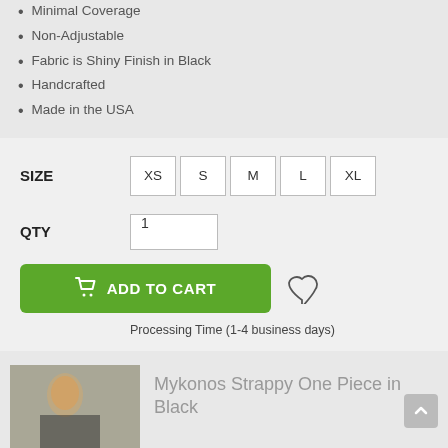Minimal Coverage
Non-Adjustable
Fabric is Shiny Finish in Black
Handcrafted
Made in the USA
SIZE  XS  S  M  L  XL
QTY  1
ADD TO CART
Processing Time (1-4 business days)
Mykonos Strappy One Piece in Black